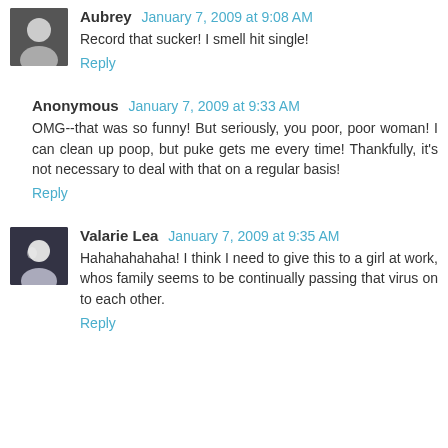Aubrey January 7, 2009 at 9:08 AM
Record that sucker! I smell hit single!
Reply
Anonymous January 7, 2009 at 9:33 AM
OMG--that was so funny! But seriously, you poor, poor woman! I can clean up poop, but puke gets me every time! Thankfully, it's not necessary to deal with that on a regular basis!
Reply
Valarie Lea January 7, 2009 at 9:35 AM
Hahahahahaha! I think I need to give this to a girl at work, whos family seems to be continually passing that virus on to each other.
Reply